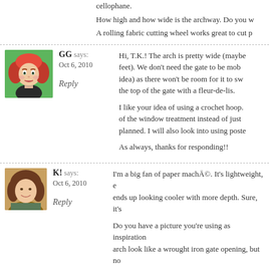cellophane. How high and how wide is the archway. Do you w A rolling fabric cutting wheel works great to cut p
[Figure (photo): Avatar of GG - cartoon illustration of woman with red curly hair]
GG says:
Oct 6, 2010
Reply
Hi, T.K.! The arch is pretty wide (maybe feet). We don't need the gate to be mob idea) as there won't be room for it to sw the top of the gate with a fleur-de-lis.

I like your idea of using a crochet hoop. of the window treatment instead of just planned. I will also look into using poste

As always, thanks for responding!!
[Figure (photo): Photo of K! - woman with brown hair smiling outdoors]
K! says:
Oct 6, 2010
Reply
I'm a big fan of paper machĀ©. It's lightweight, e ends up looking cooler with more depth. Sure, it's

Do you have a picture you're using as inspiration arch look like a wrought iron gate opening, but no
[Figure (photo): Photo of K! - woman with brown hair smiling outdoors]
K! says:
Oct 6, 2010
Or you could spend $8 on one of these top part. Complete with hanging hook.

http://www.mardigrasoutlet.com/catalog